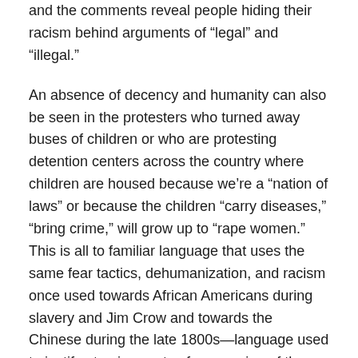and the comments reveal people hiding their racism behind arguments of “legal” and “illegal.”
An absence of decency and humanity can also be seen in the protesters who turned away buses of children or who are protesting detention centers across the country where children are housed because we’re a “nation of laws” or because the children “carry diseases,” “bring crime,” will grow up to “rape women.” This is all to familiar language that uses the same fear tactics, dehumanization, and racism once used towards African Americans during slavery and Jim Crow and towards the Chinese during the late 1800s—language used to justify atrocious acts of oppression of these groups then and language used to justify monstrous cruelty to these children today. One has to wonder if these protesters would have the same response to refugee children coming from Eastern Europe. Perhaps there would still be a backlash against thousands of Eastern European refugee children